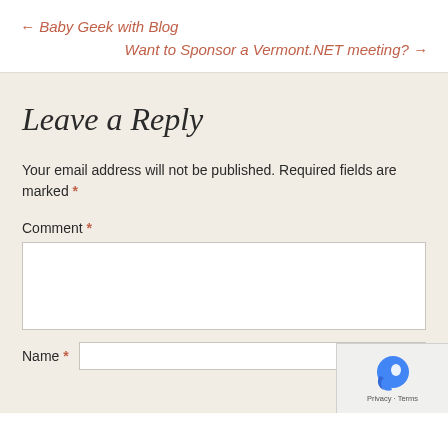← Baby Geek with Blog
Want to Sponsor a Vermont.NET meeting? →
Leave a Reply
Your email address will not be published. Required fields are marked *
Comment *
Name *